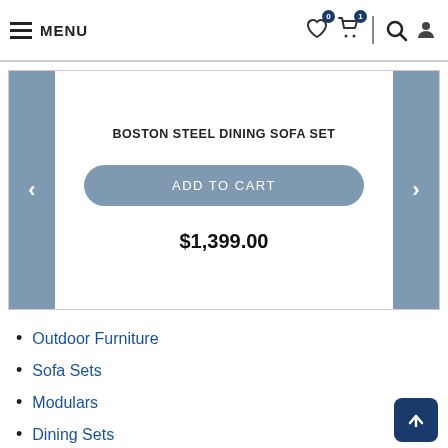MENU | Navigation bar with wishlist (0), cart (1), search, and user icons
[Figure (screenshot): Product card for BOSTON STEEL DINING SOFA SET with ADD TO CART button and price $1,399.00, flanked by blue-grey left and right navigation arrows]
Outdoor Furniture
Sofa Sets
Modulars
Dining Sets